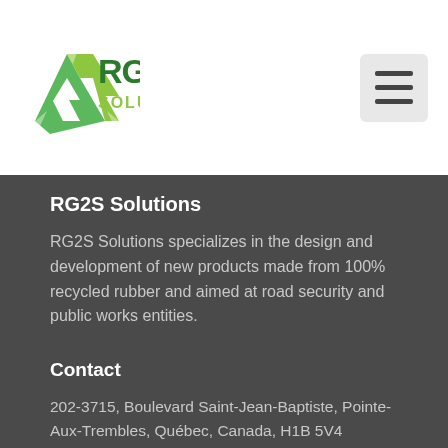[Figure (logo): RG2S Solutions logo with green recycling triangle icon and green/yellow text]
RG2S Solutions
RG2S Solutions specializes in the design and development of new products made from 100% recycled rubber and aimed at road security and public works entities.
Contact
202-3715, Boulevard Saint-Jean-Baptiste, Pointe-Aux-Trembles, Québec, Canada, H1B 5V4
Phone: (514) 379-6996
Fax: (514) 379-6555